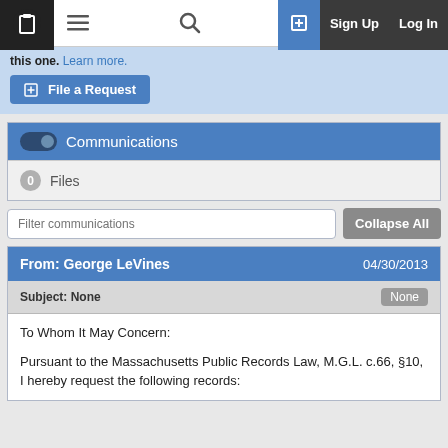Navigation bar with logo, menu, search, Sign Up, Log In
this one. Learn more.
File a Request
Communications
0 Files
Filter communications
Collapse All
From: George LeVines  04/30/2013
Subject: None  None
To Whom It May Concern:

Pursuant to the Massachusetts Public Records Law, M.G.L. c.66, §10, I hereby request the following records: